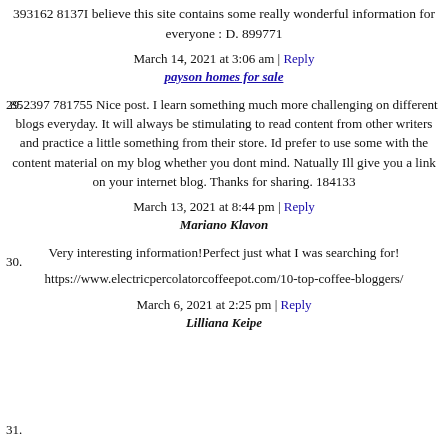393162 8137I believe this site contains some really wonderful information for everyone : D. 899771
March 14, 2021 at 3:06 am | Reply
29. payson homes for sale
852397 781755 Nice post. I learn something much more challenging on different blogs everyday. It will always be stimulating to read content from other writers and practice a little something from their store. Id prefer to use some with the content material on my blog whether you dont mind. Natually Ill give you a link on your internet blog. Thanks for sharing. 184133
March 13, 2021 at 8:44 pm | Reply
30. Mariano Klavon
Very interesting information!Perfect just what I was searching for!
https://www.electricpercolatorcoffeepot.com/10-top-coffee-bloggers/
March 6, 2021 at 2:25 pm | Reply
31. Lilliana Keipe